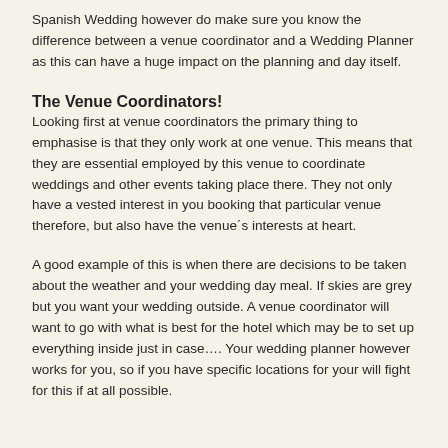Spanish Wedding however do make sure you know the difference between a venue coordinator and a Wedding Planner as this can have a huge impact on the planning and day itself.
The Venue Coordinators!
Looking first at venue coordinators the primary thing to emphasise is that they only work at one venue. This means that they are essential employed by this venue to coordinate weddings and other events taking place there. They not only have a vested interest in you booking that particular venue therefore, but also have the venue´s interests at heart.
A good example of this is when there are decisions to be taken about the weather and your wedding day meal. If skies are grey but you want your wedding outside. A venue coordinator will want to go with what is best for the hotel which may be to set up everything inside just in case…. Your wedding planner however works for you, so if you have specific locations for your will fight for this if at all possible.